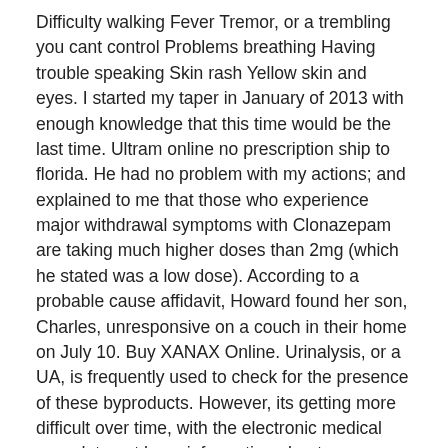Difficulty walking Fever Tremor, or a trembling you cant control Problems breathing Having trouble speaking Skin rash Yellow skin and eyes. I started my taper in January of 2013 with enough knowledge that this time would be the last time. Ultram online no prescription ship to florida. He had no problem with my actions; and explained to me that those who experience major withdrawal symptoms with Clonazepam are taking much higher doses than 2mg (which he stated was a low dose). According to a probable cause affidavit, Howard found her son, Charles, unresponsive on a couch in their home on July 10. Buy XANAX Online. Urinalysis, or a UA, is frequently used to check for the presence of these byproducts. However, its getting more difficult over time, with the electronic medical record, to not have information about an addiction history.
Buy Xanax Online Fast